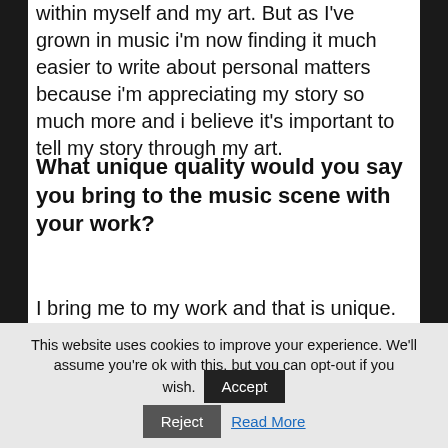within myself and my art. But as I've grown in music i'm now finding it much easier to write about personal matters because i'm appreciating my story so much more and i believe it's important to tell my story through my art.
What unique quality would you say you bring to the music scene with your work?
I bring me to my work and that is unique. There is only one of us in the world. Thats my unique quality and offering to the scene.  All that I do has probably been done before it has some of…
This website uses cookies to improve your experience. We'll assume you're ok with this, but you can opt-out if you wish. Accept Reject Read More